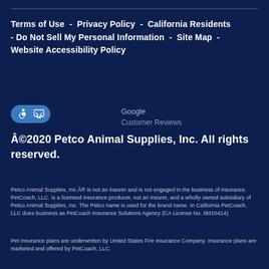Terms of Use  -  Privacy Policy  -  California Residents - Do Not Sell My Personal Information  -  Site Map  - Website Accessibility Policy
[Figure (logo): Accessibility and screen-reader icons badge in blue oval, followed by Google Customer Reviews text]
©2020 Petco Animal Supplies, Inc. All rights reserved.
Petco Animal Supplies, Inc.® is not an insurer and is not engaged in the business of insurance. PetCoach, LLC. is a licensed insurance producer, not an insurer, and a wholly owned subsidiary of Petco Animal Supplies, Inc. The Petco name is used for the brand name. In California PetCoach, LLC does business as PetCoach Insurance Solutions Agency (CA License No. 0M10414).
Pet Insurance plans are underwritten by United States Fire Insurance Company. Insurance plans are marketed and offered by PetCoach, LLC.